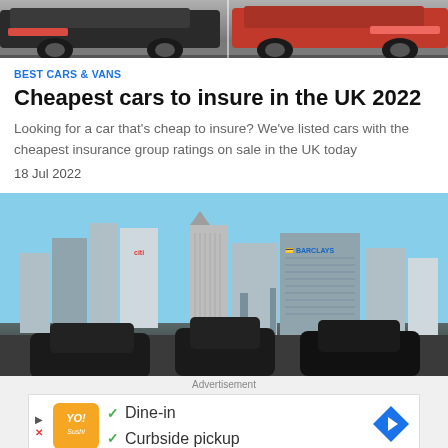[Figure (photo): Top portion of cars on road, cropped view showing rear of vehicles]
BEST CARS & VANS
Cheapest cars to insure in the UK 2022
Looking for a car that's cheap to insure? We've listed cars with the cheapest insurance group ratings on sale in the UK today
18 Jul 2022
[Figure (photo): City skyline showing tall office buildings including Citi and Barclays, with cars in foreground]
Advertisement
[Figure (infographic): Advertisement banner with orange logo, checkmarks for Dine-in and Curbside pickup, and blue navigation arrow icon]